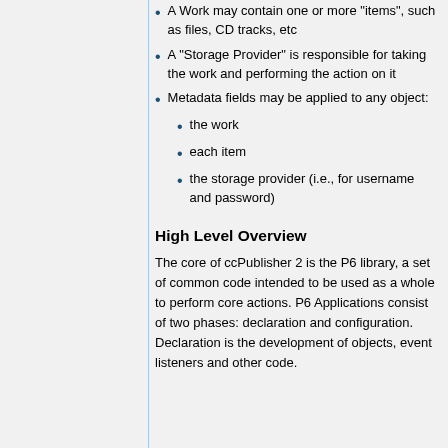A Work may contain one or more "items", such as files, CD tracks, etc
A "Storage Provider" is responsible for taking the work and performing the action on it
Metadata fields may be applied to any object:
the work
each item
the storage provider (i.e., for username and password)
High Level Overview
The core of ccPublisher 2 is the P6 library, a set of common code intended to be used as a whole to perform core actions. P6 Applications consist of two phases: declaration and configuration. Declaration is the development of objects, event listeners and other code.